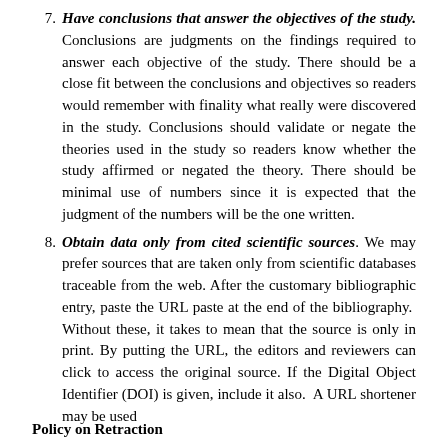7. Have conclusions that answer the objectives of the study. Conclusions are judgments on the findings required to answer each objective of the study. There should be a close fit between the conclusions and objectives so readers would remember with finality what really were discovered in the study. Conclusions should validate or negate the theories used in the study so readers know whether the study affirmed or negated the theory. There should be minimal use of numbers since it is expected that the judgment of the numbers will be the one written.
8. Obtain data only from cited scientific sources. We may prefer sources that are taken only from scientific databases traceable from the web. After the customary bibliographic entry, paste the URL paste at the end of the bibliography. Without these, it takes to mean that the source is only in print. By putting the URL, the editors and reviewers can click to access the original source. If the Digital Object Identifier (DOI) is given, include it also. A URL shortener may be used
Policy on Retraction